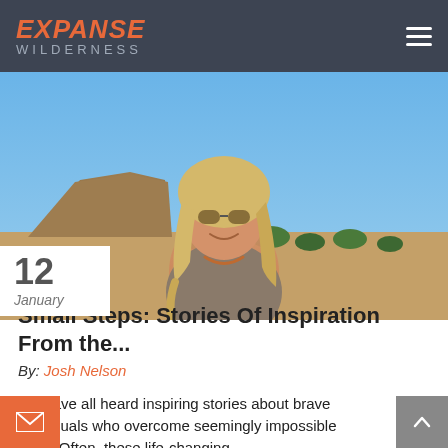EXPANSE WILDERNESS
[Figure (photo): Young blonde woman with aviator sunglasses and braided hair smiling outdoors, with a rocky mesa landscape and blue sky behind her.]
12
January
Small Steps: Stories Of Inspiration From the...
By: Josh Nelson
We have all heard inspiring stories about brave individuals who overcome seemingly impossible odds. Often, these life-changing